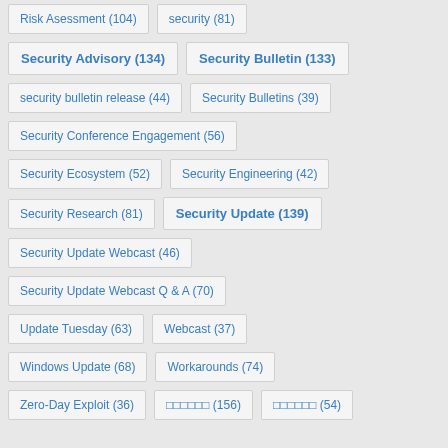Risk Asessment (104)
security (81)
Security Advisory (134)
Security Bulletin (133)
security bulletin release (44)
Security Bulletins (39)
Security Conference Engagement (56)
Security Ecosystem (52)
Security Engineering (42)
Security Research (81)
Security Update (139)
Security Update Webcast (46)
Security Update Webcast Q & A (70)
Update Tuesday (63)
Webcast (37)
Windows Update (68)
Workarounds (74)
Zero-Day Exploit (36)
□□□□□□ (156)
□□□□□□ (54)